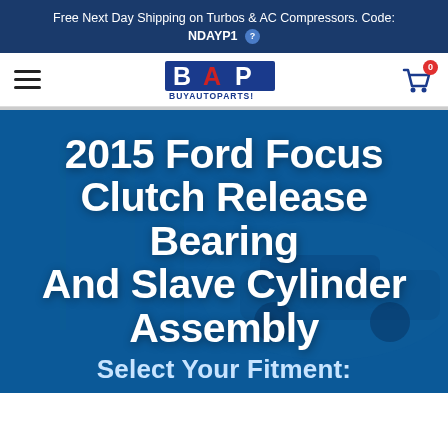Free Next Day Shipping on Turbos & AC Compressors. Code: NDAYP1
[Figure (logo): BuyAutoParts logo with BAP letters — B in blue, A in red, P in blue. BUYAUTOPARTS text below in blue.]
2015 Ford Focus Clutch Release Bearing And Slave Cylinder Assembly
Select Your Fitment: